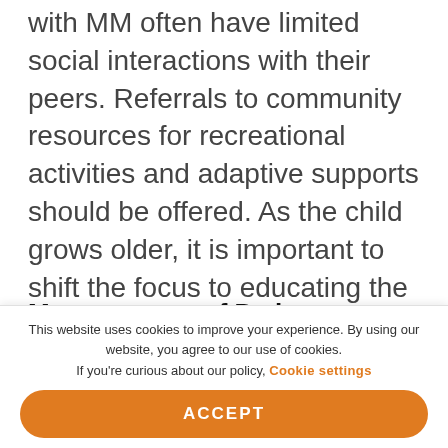with MM often have limited social interactions with their peers. Referrals to community resources for recreational activities and adaptive supports should be offered. As the child grows older, it is important to shift the focus to educating the child in a manner that is appropriate to their developmental or cognitive abilities. Adolescent patients should be encouraged to take increasing responsibility for their own care and advocacy.23
Measurement of Patient Outcomes
This website uses cookies to improve your experience. By using our website, you agree to our use of cookies. If you're curious about our policy, Cookie settings
ACCEPT